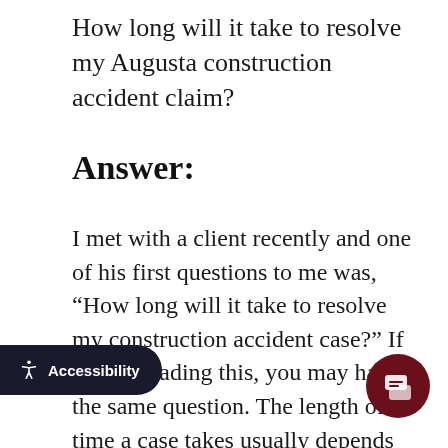How long will it take to resolve my Augusta construction accident claim?
Answer:
I met with a client recently and one of his first questions to me was, “How long will it take to resolve my construction accident case?” If you’re reading this, you may have the same question. The length of time a case takes usually depends on the amount of treatment needed and whether the insurance company is